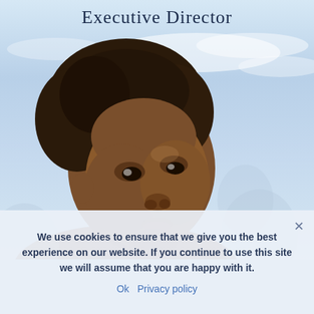Executive Director
[Figure (photo): A young child looking upward against a light blue sky background]
We use cookies to ensure that we give you the best experience on our website. If you continue to use this site we will assume that you are happy with it.
Ok   Privacy policy